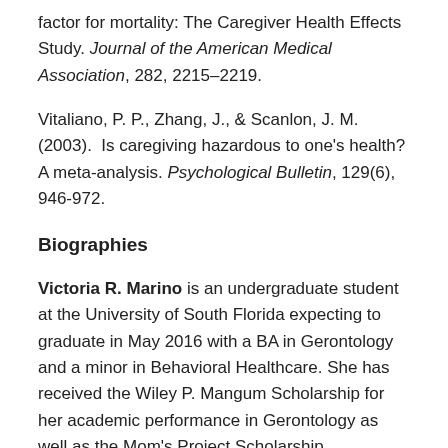factor for mortality: The Caregiver Health Effects Study. Journal of the American Medical Association, 282, 2215–2219.
Vitaliano, P. P., Zhang, J., & Scanlon, J. M. (2003).  Is caregiving hazardous to one's health? A meta-analysis. Psychological Bulletin, 129(6), 946-972.
Biographies
Victoria R. Marino is an undergraduate student at the University of South Florida expecting to graduate in May 2016 with a BA in Gerontology and a minor in Behavioral Healthcare. She has received the Wiley P. Mangum Scholarship for her academic performance in Gerontology as well as the Mom's Project Scholarship